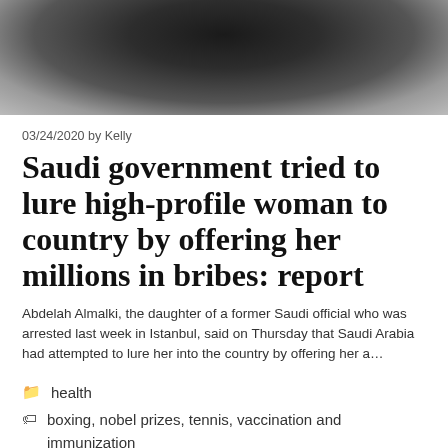[Figure (photo): Partial photo of a person in a dark suit with white shirt, indoors or outdoor setting, cropped to show torso area only]
03/24/2020 by Kelly
Saudi government tried to lure high-profile woman to country by offering her millions in bribes: report
Abdelah Almalki, the daughter of a former Saudi official who was arrested last week in Istanbul, said on Thursday that Saudi Arabia had attempted to lure her into the country by offering her a…
health
boxing, nobel prizes, tennis, vaccination and immunization